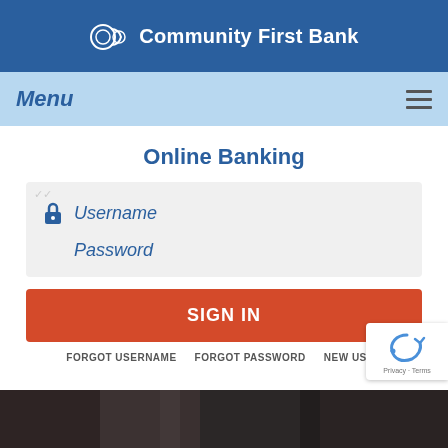Community First Bank
Menu
Online Banking
Username
Password
SIGN IN
FORGOT USERNAME
FORGOT PASSWORD
NEW USER
[Figure (logo): reCAPTCHA badge with Privacy and Terms text]
[Figure (photo): Dark background photo strip at the bottom of the page]